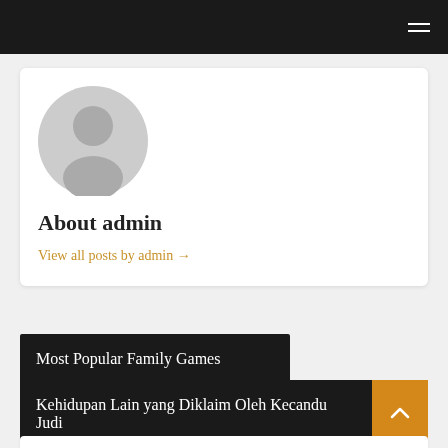[Figure (illustration): Gray default user avatar with circular head and body silhouette]
About admin
View all posts by admin →
Most Popular Family Games
Kehidupan Lain yang Diklaim Oleh Kecanduap Judi